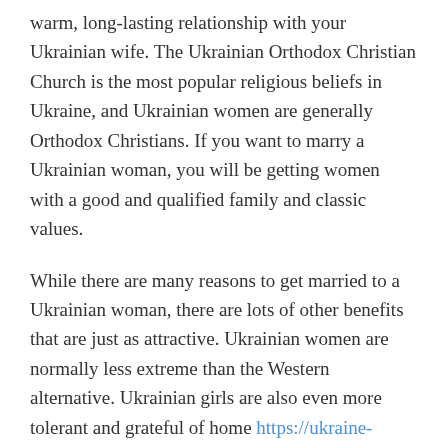warm, long-lasting relationship with your Ukrainian wife. The Ukrainian Orthodox Christian Church is the most popular religious beliefs in Ukraine, and Ukrainian women are generally Orthodox Christians. If you want to marry a Ukrainian woman, you will be getting women with a good and qualified family and classic values.
While there are many reasons to get married to a Ukrainian woman, there are lots of other benefits that are just as attractive. Ukrainian women are normally less extreme than the Western alternative. Ukrainian girls are also even more tolerant and grateful of home https://ukraine-woman.com/ areas. And they frequently place the demands of their guys before their particular. And they also continue to keep a strong sense of femininity. This will make them suitable for international marriages. A Ukrainian woman's beauty will make any guy happy!